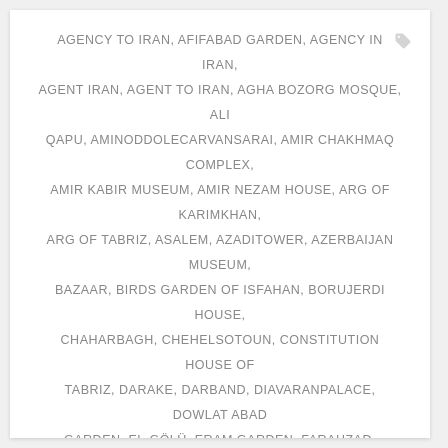AGENCY TO IRAN, AFIFABAD GARDEN, AGENCY IN IRAN, AGENT IRAN, AGENT TO IRAN, AGHA BOZORG MOSQUE, ALI QAPU, AMINODDOLECARVANSARAI, AMIR CHAKHMAQ COMPLEX, AMIR KABIR MUSEUM, AMIR NEZAM HOUSE, ARG OF KARIMKHAN, ARG OF TABRIZ, ASALEM, AZADITOWER, AZERBAIJAN MUSEUM, BAZAAR, BIRDS GARDEN OF ISFAHAN, BORUJERDI HOUSE, CHAHARBAGH, CHEHELSOTOUN, CONSTITUTION HOUSE OF TABRIZ, DARAKE, DARBAND, DIAVARANPALACE, DOWLAT ABAD GARDEN, EL-GÖLÜ, ERAM GARDEN, FARAHZAD, FARHZAD, FIN GARDEN, GOLESTANPALACE, HISTORIC HOME YASIN, IRAN TRAVEL GUIDE, IRAN TRAVEL LIDER, JAMEH MOSQUE OF YAZD, JEWELRY MUSEUM, KHAJU BRIDGE, KHALKHAL, KHAN BAZAAR, KISH, LIDER IN IRAN, MALL, MARKAR CLOCK TOWER, MARKET, MENARJONBAN, MILAD TOWER, MOSQUE, MOUNTAIN, NAQSH-E JAHAN SQUARE, NATURAL HISTORY MUSEUM OF ISFAHAN, OPERATE TOUR IN IRAN, OSTADSHAHRIARMUSEUM, PARS MUSEUM, PASARGAD, PERSEPOLIS,